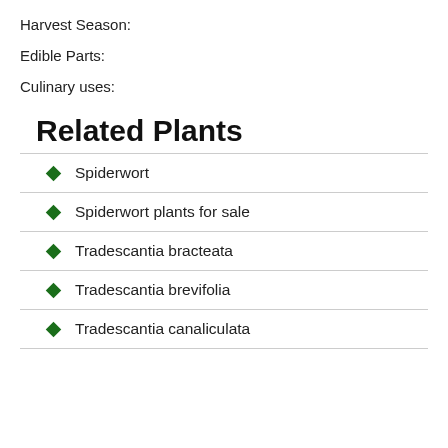Harvest Season:
Edible Parts:
Culinary uses:
Related Plants
Spiderwort
Spiderwort plants for sale
Tradescantia bracteata
Tradescantia brevifolia
Tradescantia canaliculata